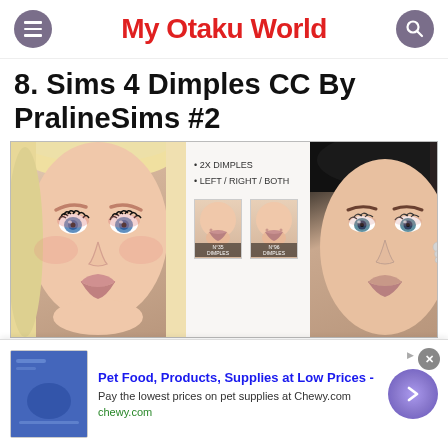My Otaku World
8. Sims 4 Dimples CC By PralineSims #2
[Figure (photo): Sims 4 character faces showing dimple CC mod by PralineSims, featuring a female Sim with blonde hair and a male Sim with dark hair, plus a feature card showing '2X DIMPLES / LEFT / RIGHT / BOTH' options with thumbnail previews]
Pet Food, Products, Supplies at Low Prices -
Pay the lowest prices on pet supplies at Chewy.com
chewy.com